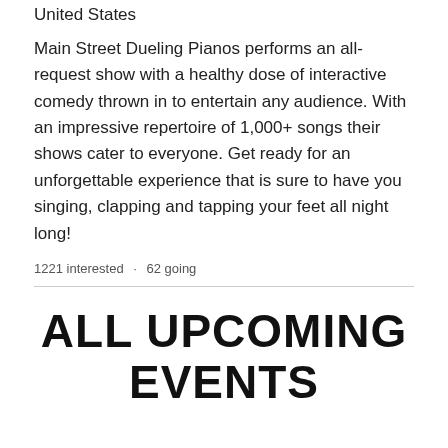United States
Main Street Dueling Pianos performs an all-request show with a healthy dose of interactive comedy thrown in to entertain any audience. With an impressive repertoire of 1,000+ songs their shows cater to everyone. Get ready for an unforgettable experience that is sure to have you singing, clapping and tapping your feet all night long!
1221 interested · 62 going
ALL UPCOMING EVENTS